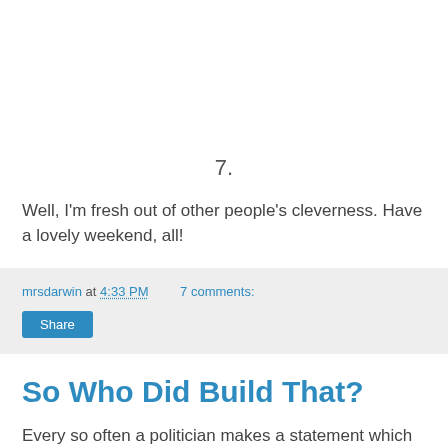7.
Well, I'm fresh out of other people's cleverness. Have a lovely weekend, all!
mrsdarwin at 4:33 PM    7 comments:
Share
So Who Did Build That?
Every so often a politician makes a statement which so well